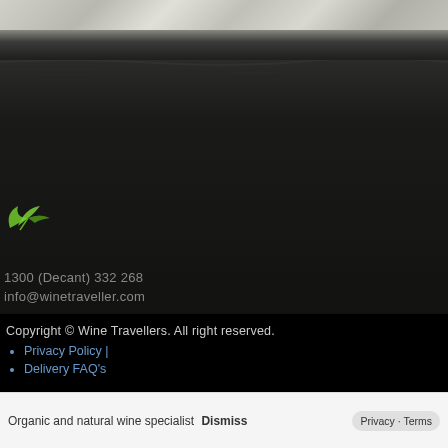[Figure (photo): Dark background showing rocky soil/ground texture with white/grey stone at top transitioning to dark charcoal black earth below. A small green plant leaf icon is visible on the left side.]
1300 (Decant) 332 268
info@winetraveller.com
Copyright © Wine Travellers. All right reserved.
Privacy Policy |
Delivery FAQ's
Organic and natural wine specialist Dismiss
Privacy · Terms